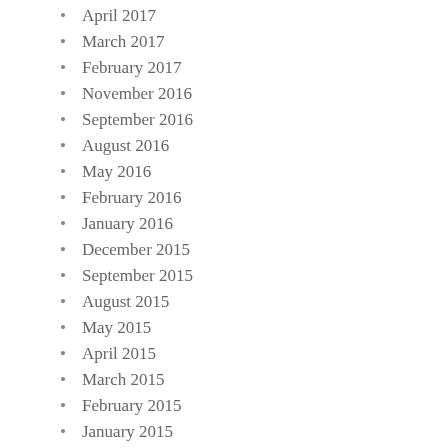April 2017
March 2017
February 2017
November 2016
September 2016
August 2016
May 2016
February 2016
January 2016
December 2015
September 2015
August 2015
May 2015
April 2015
March 2015
February 2015
January 2015